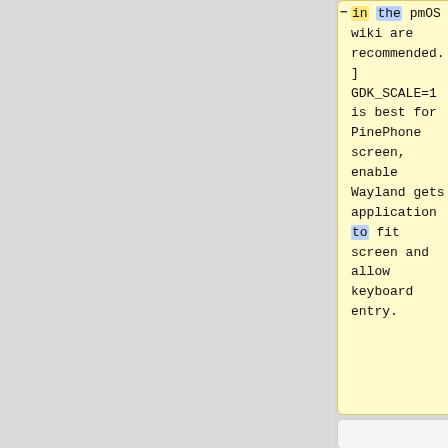-in the pmOS wiki are recommended. ] GDK_SCALE=1 is best for PinePhone screen, enable Wayland gets application to fit screen and allow keyboard entry.
+bootloader and the desired desktop environment. The ARM64 version of Gentoo has to be selected.
* ''' Where/how to report defects '''
==== Download ====